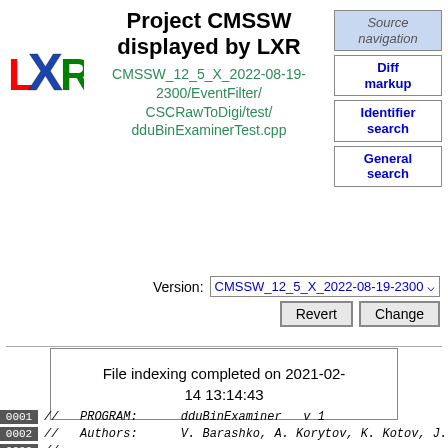Project CMSSW displayed by LXR
CMSSW_12_5_X_2022-08-19-2300/EventFilter/CSCRawToDigi/test/dduBinExaminerTest.cpp
Source navigation
Diff markup
Identifier search
General search
Version: CMSSW_12_5_X_2022-08-19-2300
File indexing completed on 2021-02-14 13:14:43
0001 //   PROGRAM:     dduBinExaminer  v 1
0002 //   Authors:     V. Barashko, A. Korytov, K. Kotov, J.
0003 //=================================================================